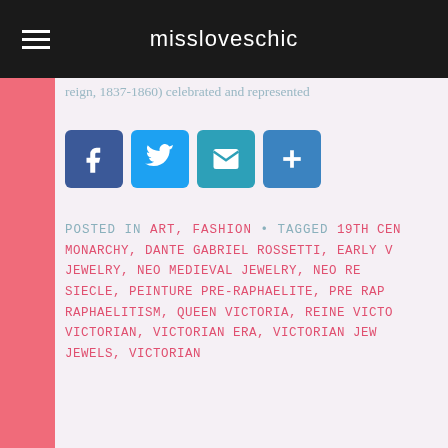missloveschic
reign, 1837-1860) celebrated and represented
[Figure (infographic): Social share buttons: Facebook (blue), Twitter (light blue), Email (teal), Share/Plus (blue)]
POSTED IN ART, FASHION • TAGGED 19TH CEN... MONARCHY, DANTE GABRIEL ROSSETTI, EARLY V... JEWELRY, NEO MEDIEVAL JEWELRY, NEO RE... SIECLE, PEINTURE PRE-RAPHAELITE, PRE RAP... RAPHAELITISM, QUEEN VICTORIA, REINE VICTO... VICTORIAN, VICTORIAN ERA, VICTORIAN JEW... JEWELS, VICTORIAN...